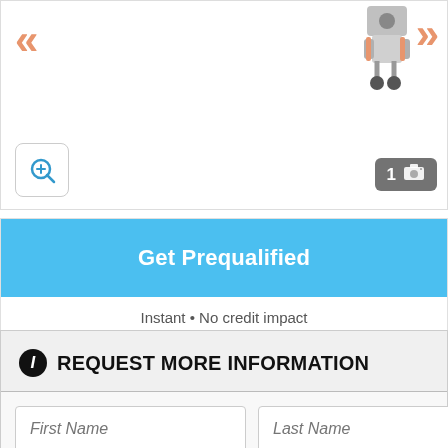[Figure (screenshot): Product image viewer showing a robot/machine with orange navigation arrows on left and right sides, zoom button in bottom-left corner, and photo count indicator (1 with camera icon) in bottom-right.]
Get Prequalified
Instant • No credit impact
REQUEST MORE INFORMATION
First Name
Last Name
Email - ex@mple.com
Phone Number - (__) ___-____